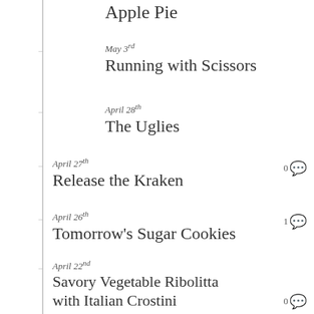Apple Pie
May 3rd — Running with Scissors — 0 comments
April 28th — The Uglies — 0 comments
April 27th — Release the Kraken — 0 comments
April 26th — Tomorrow's Sugar Cookies — 1 comment
April 22nd — Savory Vegetable Ribolitta with Italian Crostini — 0 comments
April 20th — Happy Easter 2014 — 5 comments
April 13th